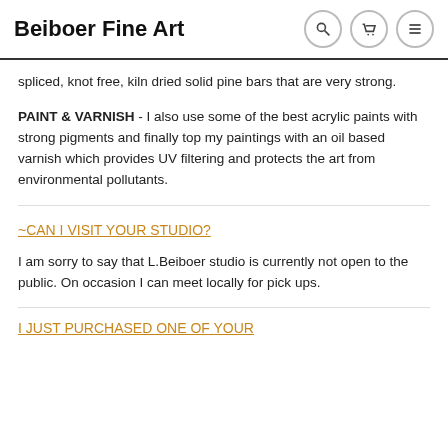Beiboer Fine Art
spliced, knot free, kiln dried solid pine bars that are very strong.
PAINT & VARNISH - I also use some of the best acrylic paints with strong pigments and finally top my paintings with an oil based varnish which provides UV filtering and protects the art from environmental pollutants.
~CAN I VISIT YOUR STUDIO?
I am sorry to say that L.Beiboer studio is currently not open to the public. On occasion I can meet locally for pick ups.
I JUST PURCHASED ONE OF YOUR